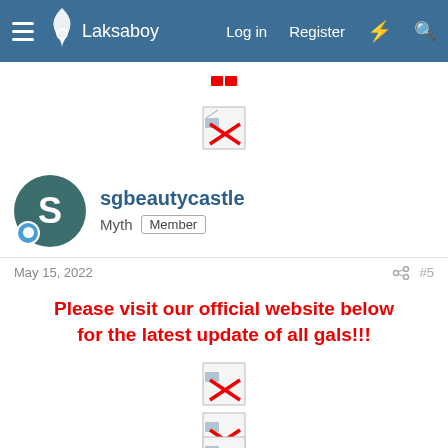Laksaboy   Log in   Register
[Figure (illustration): Broken image placeholder with red X icon, small size, centered near top]
sgbeautycastle
Myth  Member
May 15, 2022   #5
Please visit our official website below for the latest update of all gals!!!
[Figure (illustration): Broken image placeholder with red X icon]
[Figure (illustration): Broken image placeholder with red X icon]
[Figure (illustration): Broken image placeholder with red X icon (partially visible)]